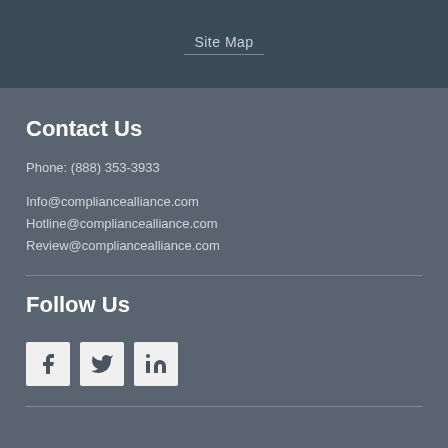Site Map
Contact Us
Phone: (888) 353-3933
Info@compliancealliance.com
Hotline@compliancealliance.com
Review@compliancealliance.com
Follow Us
[Figure (infographic): Social media icons for Facebook, Twitter, and LinkedIn in light square boxes]